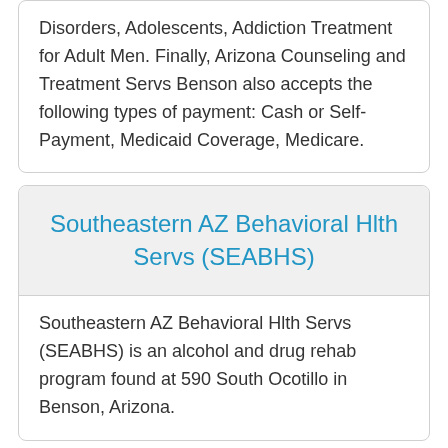Disorders, Adolescents, Addiction Treatment for Adult Men. Finally, Arizona Counseling and Treatment Servs Benson also accepts the following types of payment: Cash or Self-Payment, Medicaid Coverage, Medicare.
Southeastern AZ Behavioral Hlth Servs (SEABHS)
Southeastern AZ Behavioral Hlth Servs (SEABHS) is an alcohol and drug rehab program found at 590 South Ocotillo in Benson, Arizona.